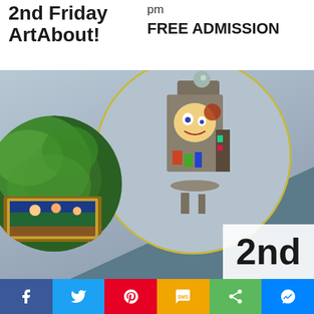2nd Friday ArtAbout!
pm
FREE ADMISSION
[Figure (photo): Art event promotional image with sculptural artwork (colorful robot/jukebox sculpture in a large circle with yellow outline), green vegetation circle with framed painting, blue-gray geometric background, and '2nd' text in white box at bottom right]
Social sharing bar: Facebook, Twitter, Pinterest, SMS, Share, Messenger